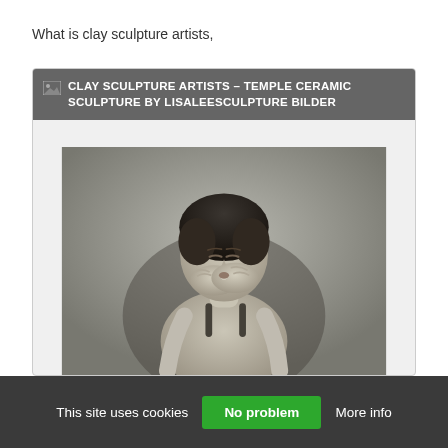What is clay sculpture artists,
[Figure (photo): A ceramic sculpture of a woman with short dark hair, eyes closed, hands clasped together near her mouth as if in prayer or blowing something. The figure is wearing a sleeveless garment. The photo is in black and white / grayscale. Overlaid text at the top reads: CLAY SCULPTURE ARTISTS – TEMPLE CERAMIC SCULPTURE BY LISALEESCULPTURE BILDER]
This site uses cookies   No problem   More info